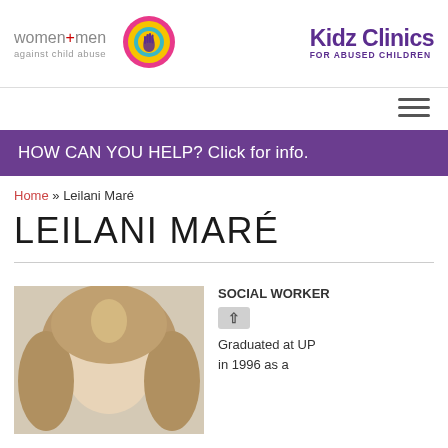[Figure (logo): women+men against child abuse logo — text logo in grey]
[Figure (logo): Circular logo with pink/yellow/teal rings and a purple hand silhouette in the center]
[Figure (logo): Kidz Clinics FOR ABUSED CHILDREN — text logo in purple]
[Figure (other): Hamburger menu icon (three horizontal lines)]
HOW CAN YOU HELP? Click for info.
Home » Leilani Maré
LEILANI MARÉ
[Figure (photo): Portrait photo of a woman with short blonde/brown hair against a light background, cropped to head and shoulders]
SOCIAL WORKER
Graduated at UP in 1996 as a